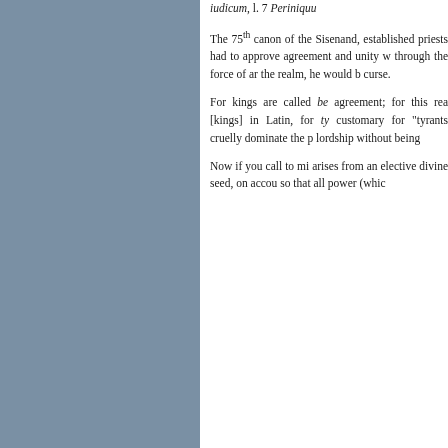iudicum, l. 7 Periniquu
The 75th canon of the Sisenand, established priests had to approve agreement and unity w through the force of ar the realm, he would b curse.
For kings are called b agreement; for this re [kings] in Latin, for ty customary for “tyrants cruelly dominate the p lordship without being
Now if you call to mi arises from an elective divine seed, on accou so that all power (whic